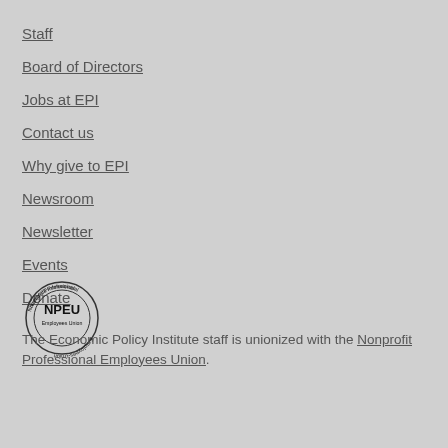Staff
Board of Directors
Jobs at EPI
Contact us
Why give to EPI
Newsroom
Newsletter
Events
Donate
[Figure (logo): NPEU - Nonprofit Professional Employees Union circular logo with text around a circle]
The Economic Policy Institute staff is unionized with the Nonprofit Professional Employees Union.